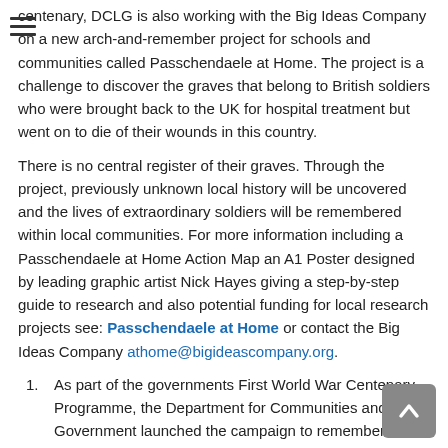centenary, DCLG is also working with the Big Ideas Company on a new arch-and-remember project for schools and communities called Passchendaele at Home. The project is a challenge to discover the graves that belong to British soldiers who were brought back to the UK for hospital treatment but went on to die of their wounds in this country.
There is no central register of their graves. Through the project, previously unknown local history will be uncovered and the lives of extraordinary soldiers will be remembered within local communities. For more information including a Passchendaele at Home Action Map an A1 Poster designed by leading graphic artist Nick Hayes giving a step-by-step guide to research and also potential funding for local research projects see: Passchendaele at Home or contact the Big Ideas Company athome@bigideascompany.org.
As part of the governments First World War Centenary Programme, the Department for Communities and Local Government launched the campaign to remember and honour all those awarded the Victoria Cross during the First World War with a commemorative paving stone.
There were 627 individuals who received the VC during the First World War, although in total 628 VCs were awarded. This is because Noel Chavasse, was awarded the VC twice during the First World